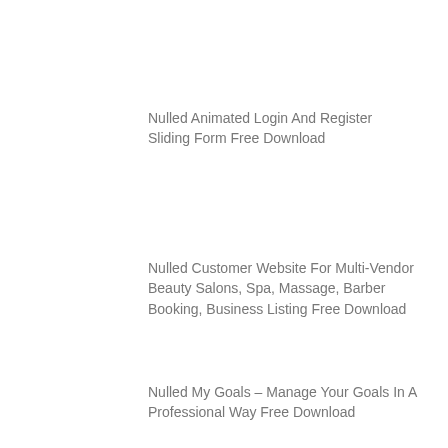Nulled Animated Login And Register Sliding Form Free Download
Nulled Customer Website For Multi-Vendor Beauty Salons, Spa, Massage, Barber Booking, Business Listing Free Download
Nulled My Goals – Manage Your Goals In A Professional Way Free Download